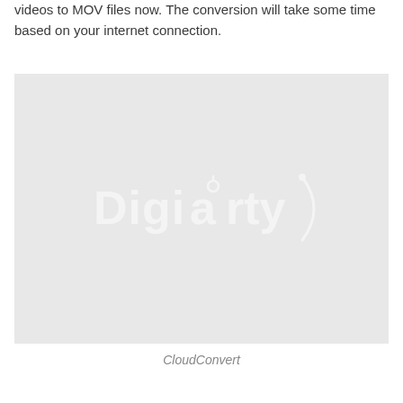videos to MOV files now. The conversion will take some time based on your internet connection.
[Figure (screenshot): A light gray placeholder image with a 'Digiarty' watermark logo in white text centered on the image.]
CloudConvert